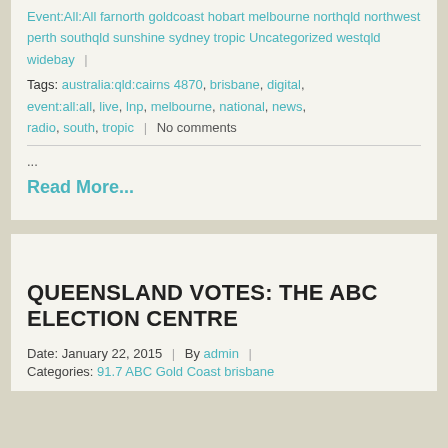Event:All:All farnorth goldcoast hobart melbourne northqld northwest perth southqld sunshine sydney tropic Uncategorized westqld widebay
Tags: australia:qld:cairns 4870, brisbane, digital, event:all:all, live, lnp, melbourne, national, news, radio, south, tropic | No comments
...
Read More...
QUEENSLAND VOTES: THE ABC ELECTION CENTRE
Date: January 22, 2015 | By admin |
Categories: 91.7 ABC Gold Coast brisbane